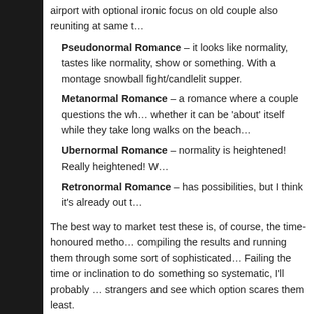airport with optional ironic focus on old couple also reuniting at same t…
Pseudonormal Romance – it looks like normality, tastes like normality, show or something. With a montage snowball fight/candlelit supper.
Metanormal Romance – a romance where a couple questions the wh… whether it can be 'about' itself while they take long walks on the beach…
Ubernormal Romance – normality is heightened! Really heightened! W…
Retronormal Romance – has possibilities, but I think it's already out t…
The best way to market test these is, of course, the time-honoured metho… compiling the results and running them through some sort of sophisticated… Failing the time or inclination to do something so systematic, I'll probably … strangers and see which option scares them least.
Tweet
3 Comments